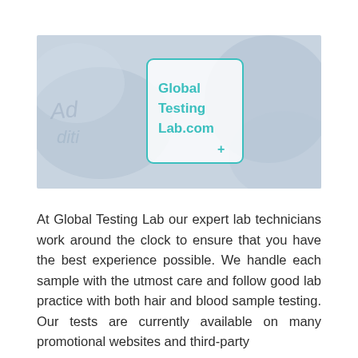[Figure (logo): Photo banner with a light blue/grey toned background showing lab technicians at work. Overlaid in the center is a white-bordered rounded rectangle logo containing the teal text 'Global Testing Lab.com' and a teal plus sign in the lower right corner of the logo box.]
At Global Testing Lab our expert lab technicians work around the clock to ensure that you have the best experience possible. We handle each sample with the utmost care and follow good lab practice with both hair and blood sample testing. Our tests are currently available on many promotional websites and third-party